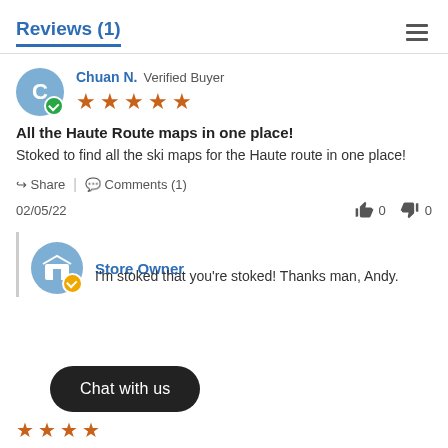Reviews (1)
Chuan N. Verified Buyer
★★★★★
All the Haute Route maps in one place!
Stoked to find all the ski maps for the Haute route in one place!
Share | Comments (1)
02/05/22  👍 0  👎 0
Store Owner
I'm stoked that you're stoked! Thanks man, Andy.
Chat with us